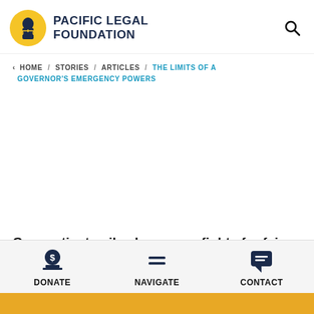[Figure (logo): Pacific Legal Foundation logo: yellow circle with figure holding scales, next to bold navy text PACIFIC LEGAL FOUNDATION]
PACIFIC LEGAL FOUNDATION
< HOME / STORIES / ARTICLES / THE LIMITS OF A GOVERNOR'S EMERGENCY POWERS
Connecticut nail salon owner fights for fair treatment under "shutdown" orders
[Figure (infographic): Bottom navigation bar with three icons: DONATE (dollar sign on stand), NAVIGATE (hamburger menu), CONTACT (speech bubble with lines)]
DONATE   NAVIGATE   CONTACT